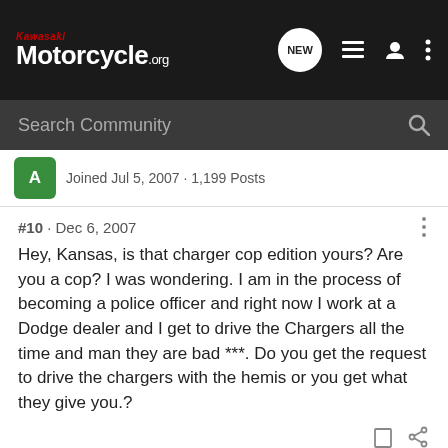Kawasaki Motorcycle.org
Search Community
Joined Jul 5, 2007 · 1,199 Posts
#10 · Dec 6, 2007
Hey, Kansas, is that charger cop edition yours? Are you a cop? I was wondering. I am in the process of becoming a police officer and right now I work at a Dodge dealer and I get to drive the Chargers all the time and man they are bad ***. Do you get the request to drive the chargers with the hemis or you get what they give you.?
[Figure (screenshot): Suzuki GSX-S1000 GT advertisement banner at the bottom of the page]